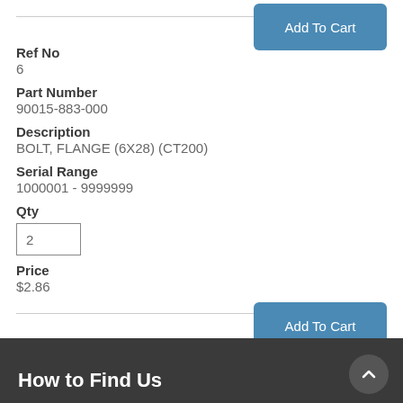Add To Cart
Ref No
6
Part Number
90015-883-000
Description
BOLT, FLANGE (6X28) (CT200)
Serial Range
1000001 - 9999999
Qty
2
Price
$2.86
Add To Cart
How to Find Us